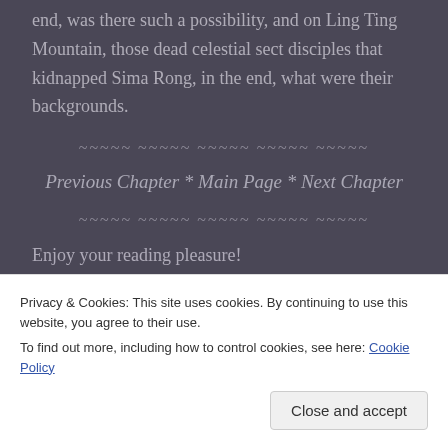end, was there such a possibility, and on Ling Ting Mountain, those dead celestial sect disciples that kidnapped Sima Rong, in the end, what were their backgrounds.
~~~~~ ~~~~~ ~~~~~ ~~~~~ ~~~~~
Previous Chapter * Main Page * Next Chapter
~~~~~ ~~~~~ ~~~~~ ~~~~~ ~~~~~
Enjoy your reading pleasure!
Privacy & Cookies: This site uses cookies. By continuing to use this website, you agree to their use.
To find out more, including how to control cookies, see here: Cookie Policy
Close and accept